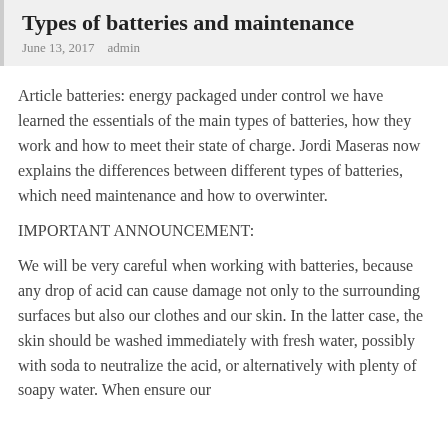Types of batteries and maintenance
June 13, 2017   admin
Article batteries: energy packaged under control we have learned the essentials of the main types of batteries, how they work and how to meet their state of charge. Jordi Maseras now explains the differences between different types of batteries, which need maintenance and how to overwinter.
IMPORTANT ANNOUNCEMENT:
We will be very careful when working with batteries, because any drop of acid can cause damage not only to the surrounding surfaces but also our clothes and our skin. In the latter case, the skin should be washed immediately with fresh water, possibly with soda to neutralize the acid, or alternatively with plenty of soapy water. When ensure our